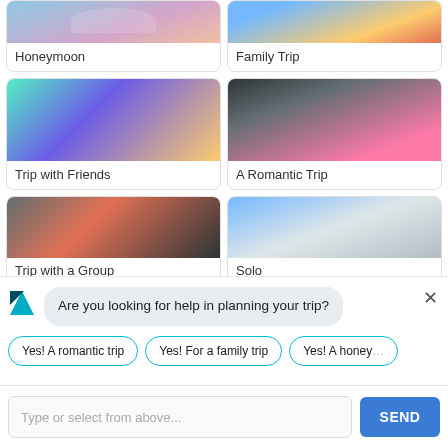[Figure (screenshot): Travel category selection grid showing trip type cards: Honeymoon, Family Trip, Trip with Friends, A Romantic Trip, Trip with a Group, Solo. Each card has a photo thumbnail and label.]
Honeymoon
Family Trip
Trip with Friends
A Romantic Trip
Trip with a Group
Solo
Are you looking for help in planning your trip?
Yes! A romantic trip
Yes! For a family trip
Yes! A honey
Type or select from above...
SEND